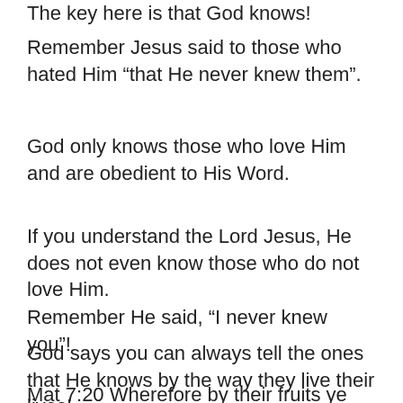The key here is that God knows!
Remember Jesus said to those who hated Him “that He never knew them”.
God only knows those who love Him and are obedient to His Word.
If you understand the Lord Jesus, He does not even know those who do not love Him.
Remember He said, “I never knew you”!
God says you can always tell the ones that He knows by the way they live their lives!
Mat 7:20 Wherefore by their fruits ye shall know them.